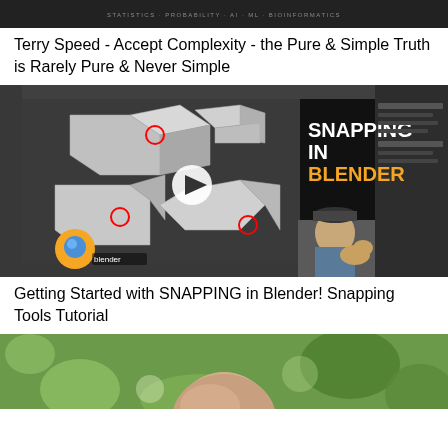[Figure (screenshot): Video thumbnail for Terry Speed talk - dark background with text overlay]
Terry Speed - Accept Complexity - the Pure & Simple Truth is Rarely Pure & Never Simple
[Figure (screenshot): Video thumbnail for Blender snapping tutorial showing 3D geometric shapes with red circle markers, Blender logo, SNAPPING IN BLENDER text, play button, and person with dog in corner]
Getting Started with SNAPPING in Blender! Snapping Tools Tutorial
[Figure (photo): Partial view of a person's head/face against a green bokeh background]